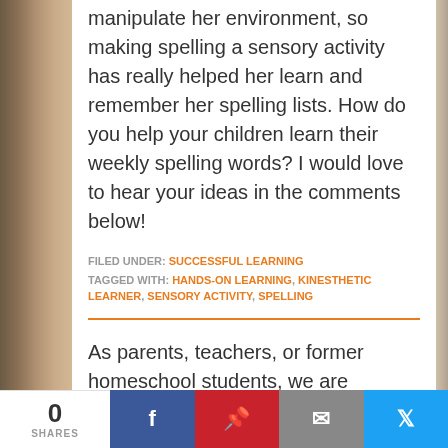manipulate her environment, so making spelling a sensory activity has really helped her learn and remember her spelling lists. How do you help your children learn their weekly spelling words? I would love to hear your ideas in the comments below!
FILED UNDER: SUCCESSFUL LEARNING
TAGGED WITH: HANDS-ON LEARNING, KINESTHETIC LEARNER, SENSORY ACTIVITY, SPELLING
As parents, teachers, or former homeschool students, we are passionate about homeschooling from a biblical worldview. We hope these teaching tips, fun activities, and inspirational stories support you in teaching your...